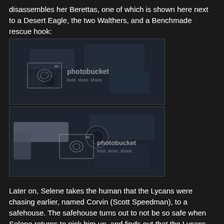disassembles her Berettas, one of which is shown here next to a Desert Eagle, the two Walthers, and a Benchmade rescue hook:
[Figure (photo): Dark photograph showing disassembled handguns including a Beretta, Desert Eagle, two Walthers, and a Benchmade rescue hook arranged on a dark surface. Photobucket watermark overlay.]
[Figure (photo): Dark photograph showing handguns on a dark surface, including a silver/chrome pistol on the left and black pistols. Photobucket watermark overlay with 'host. store. share.']
Later on, Selene takes the human that the Lycans were chasing earlier, named Corvin (Scott Speedman), to a safehouse. The safehouse turns out to not be so safe when Selene returns to pick him up, and finds out that the Lycans have followed her there.